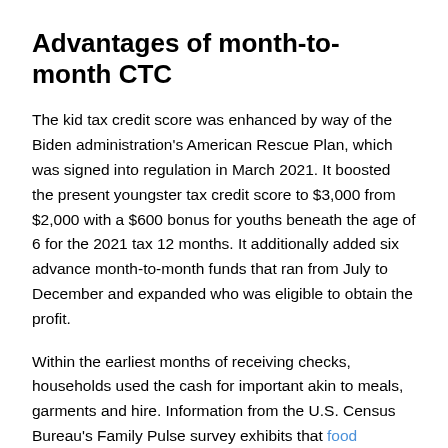Advantages of month-to-month CTC
The kid tax credit score was enhanced by way of the Biden administration's American Rescue Plan, which was signed into regulation in March 2021. It boosted the present youngster tax credit score to $3,000 from $2,000 with a $600 bonus for youths beneath the age of 6 for the 2021 tax 12 months. It additionally added six advance month-to-month funds that ran from July to December and expanded who was eligible to obtain the profit.
Within the earliest months of receiving checks, households used the cash for important akin to meals, garments and hire. Information from the U.S. Census Bureau's Family Pulse survey exhibits that food insecurity and youngster poverty dropped as a result of profit.